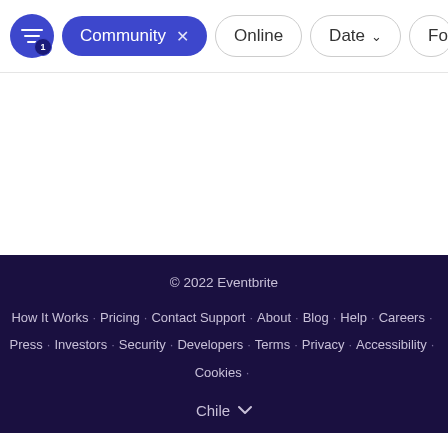[Figure (screenshot): Filter bar with active 'Community' pill filter, 'Online' pill, 'Date' dropdown pill, and partial 'Fo' pill visible. A blue circle icon with filter lines and badge '1' is on the left.]
© 2022 Eventbrite
How It Works · Pricing · Contact Support · About · Blog · Help · Careers · Press · Investors · Security · Developers · Terms · Privacy · Accessibility · Cookies ·
Chile